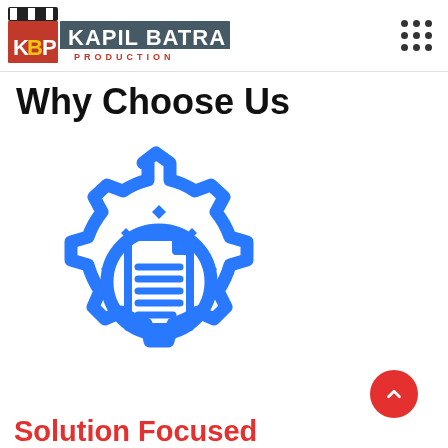[Figure (logo): Kapil Batra Production logo with film clapperboard, KBP text and full company name]
[Figure (other): 3x3 grid of dots navigation icon in top right corner]
Why Choose Us
[Figure (illustration): Blue gear icon with a document/file icon in the center, representing solution-focused services]
Solution Focused